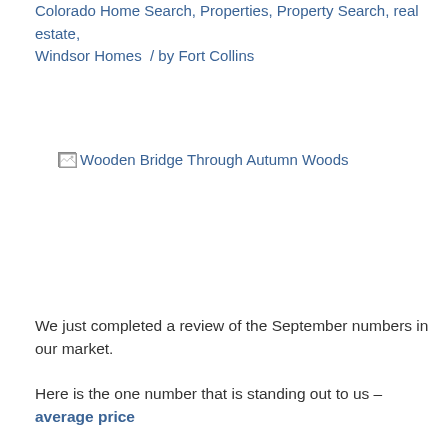Colorado Home Search, Properties, Property Search, real estate, Windsor Homes  /  by Fort Collins
[Figure (photo): Broken image placeholder for 'Wooden Bridge Through Autumn Woods']
We just completed a review of the September numbers in our market.
Here is the one number that is standing out to us – average price